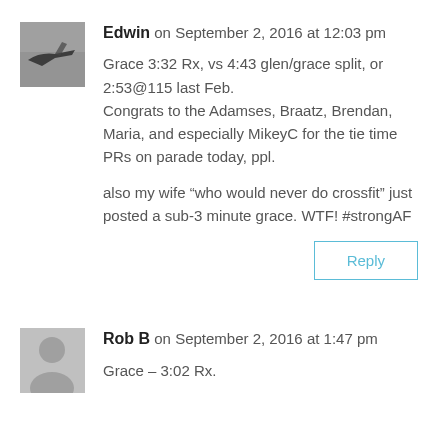[Figure (photo): Small grayscale avatar photo showing an airplane silhouette against a light sky]
Edwin on September 2, 2016 at 12:03 pm
Grace 3:32 Rx, vs 4:43 glen/grace split, or 2:53@115 last Feb.
Congrats to the Adamses, Braatz, Brendan, Maria, and especially MikeyC for the tie time    PRs on parade today, ppl.

also my wife “who would never do crossfit” just posted a sub-3 minute grace. WTF! #strongAF
Reply
[Figure (illustration): Generic gray person/user avatar placeholder icon]
Rob B on September 2, 2016 at 1:47 pm
Grace – 3:02 Rx.